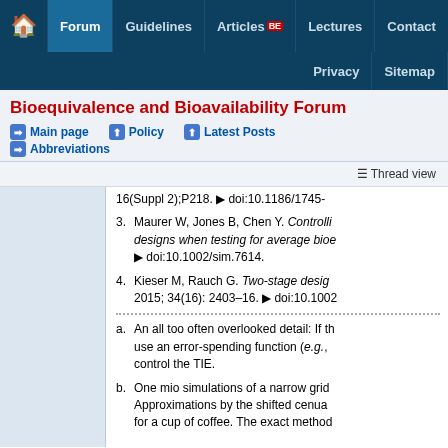Bioequivalence and Bioavailability Forum — Navigation: Home, Forum, Guidelines, Articles BE, Lectures, Contact, Privacy, Sitemap
Bioequivalence and Bioavailability Forum
Main page | Policy | Latest Posts | Abbreviations
Thread view
16(Suppl 2);P218. ▶ doi:10.1186/1745-
3. Maurer W, Jones B, Chen Y. Controlling designs when testing for average bioe ▶ doi:10.1002/sim.7614.
4. Kieser M, Rauch G. Two-stage desig 2015; 34(16): 2403–16. ▶ doi:10.1002
a. An all too often overlooked detail: If th use an error-spending function (e.g., b control the TIE.
b. One mio simulations of a narrow grid Approximations by the shifted cenua for a cup of coffee. The exact method